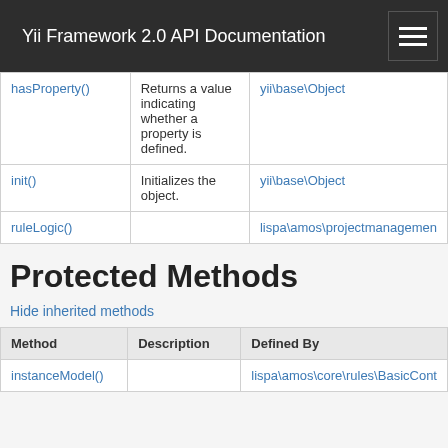Yii Framework 2.0 API Documentation
| Method | Description | Defined By |
| --- | --- | --- |
| hasProperty() | Returns a value indicating whether a property is defined. | yii\base\Object |
| init() | Initializes the object. | yii\base\Object |
| ruleLogic() |  | lispa\amos\projectmanagement... |
Protected Methods
Hide inherited methods
| Method | Description | Defined By |
| --- | --- | --- |
| instanceModel() |  | lispa\amos\core\rules\BasicCont... |